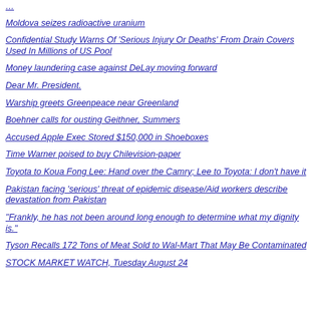Moldova seizes radioactive uranium
Confidential Study Warns Of 'Serious Injury Or Deaths' From Drain Covers Used In Millions of US Pool
Money laundering case against DeLay moving forward
Dear Mr. President.
Warship greets Greenpeace near Greenland
Boehner calls for ousting Geithner, Summers
Accused Apple Exec Stored $150,000 in Shoeboxes
Time Warner poised to buy Chilevision-paper
Toyota to Koua Fong Lee: Hand over the Camry; Lee to Toyota: I don't have it
Pakistan facing 'serious' threat of epidemic disease/Aid workers describe devastation from Pakistan
"Frankly, he has not been around long enough to determine what my dignity is."
Tyson Recalls 172 Tons of Meat Sold to Wal-Mart That May Be Contaminated
STOCK MARKET WATCH, Tuesday August 24